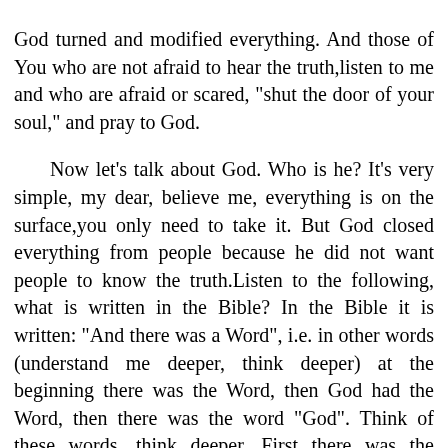God turned and modified everything. And those of You who are not afraid to hear the truth,listen to me and who are afraid or scared, "shut the door of your soul," and pray to God.

Now let's talk about God. Who is he? It's very simple, my dear, believe me, everything is on the surface,you only need to take it. But God closed everything from people because he did not want people to know the truth.Listen to the following, what is written in the Bible? In the Bible it is written: "And there was a Word", i.e. in other words (understand me deeper, think deeper) at the beginning there was the Word, then God had the Word, then there was the word "God". Think of these words, think deeper. First there was the Word,there was the one who created the Word, then there was the word "God". In other words,there was the one who created the Word, He created the word "God", and then at the third turn, He created God as a Spirit.I repeat once